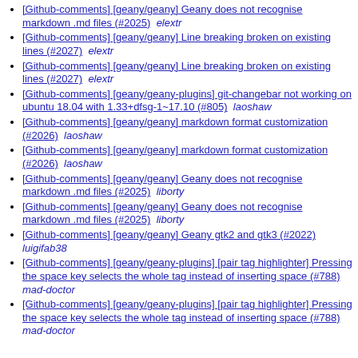[Github-comments] [geany/geany] Geany does not recognise markdown .md files (#2025)  elextr
[Github-comments] [geany/geany] Line breaking broken on existing lines (#2027)  elextr
[Github-comments] [geany/geany] Line breaking broken on existing lines (#2027)  elextr
[Github-comments] [geany/geany-plugins] git-changebar not working on ubuntu 18.04 with 1.33+dfsg-1~17.10 (#805)  laoshaw
[Github-comments] [geany/geany] markdown format customization (#2026)  laoshaw
[Github-comments] [geany/geany] markdown format customization (#2026)  laoshaw
[Github-comments] [geany/geany] Geany does not recognise markdown .md files (#2025)  liborty
[Github-comments] [geany/geany] Geany does not recognise markdown .md files (#2025)  liborty
[Github-comments] [geany/geany] Geany gtk2 and gtk3 (#2022)  luigifab38
[Github-comments] [geany/geany-plugins] [pair tag highlighter] Pressing the space key selects the whole tag instead of inserting space (#788)  mad-doctor
[Github-comments] [geany/geany-plugins] [pair tag highlighter] Pressing the space key selects the whole tag instead of inserting space (#788)  mad-doctor